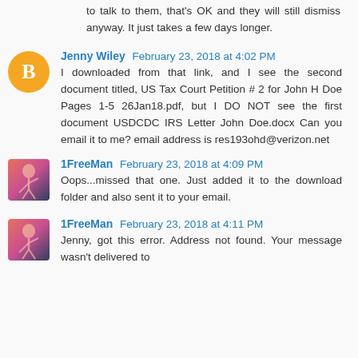to talk to them, that's OK and they will still dismiss anyway. It just takes a few days longer.
Jenny Wiley  February 23, 2018 at 4:02 PM
I downloaded from that link, and I see the second document titled, US Tax Court Petition # 2 for John H Doe Pages 1-5 26Jan18.pdf, but I DO NOT see the first document USDCDC IRS Letter John Doe.docx Can you email it to me? email address is res193ohd@verizon.net
1FreeMan  February 23, 2018 at 4:09 PM
Oops...missed that one. Just added it to the download folder and also sent it to your email.
1FreeMan  February 23, 2018 at 4:11 PM
Jenny, got this error. Address not found. Your message wasn't delivered to